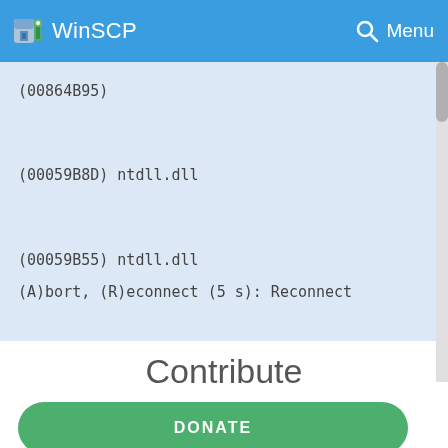WinSCP  Menu
(00864B95)
(00059B8D) ntdll.dll
(00059B55) ntdll.dll
(A)bort, (R)econnect (5 s): Reconnect
Contribute
DONATE